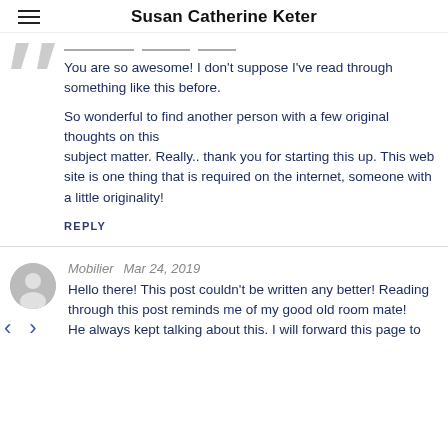Susan Catherine Keter
You are so awesome! I don't suppose I've read through something like this before.

So wonderful to find another person with a few original thoughts on this subject matter. Really.. thank you for starting this up. This web site is one thing that is required on the internet, someone with a little originality!
REPLY
Mobilier   Mar 24, 2019
Hello there! This post couldn't be written any better! Reading through this post reminds me of my good old room mate! He always kept talking about this. I will forward this page to